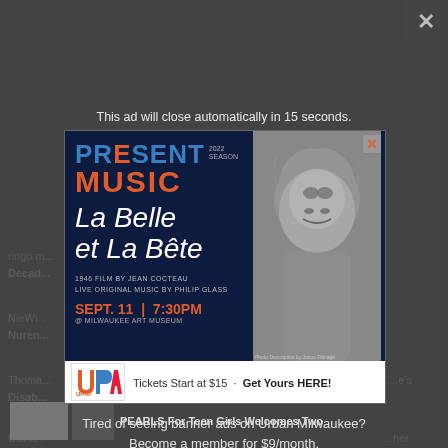ringo m... Decade...
NieWi... Nuren...
Thomas... Disab...
David... Colum...
kayge... Voter...
This ad will close automatically in 15 seconds.
[Figure (advertisement): Present Music 2022 Season advertisement. La Belle et La Bête. 1946 Film by Jean Cocteau. Live Original Music by Philip Glass. Sept. 11 | 7:30PM @ Milwaukee Art Museum. Tickets Start at $15 · Get Yours HERE!]
Tired of seeing banner ads on Urban Milwaukee?
Become a member for $9/month.
New Faces
PEARLS For Teen Girls Welcomes Two